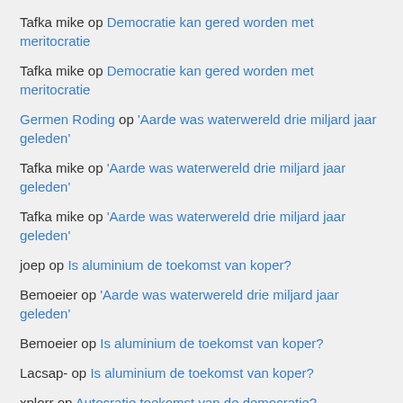Tafka mike op Democratie kan gered worden met meritocratie
Tafka mike op Democratie kan gered worden met meritocratie
Germen Roding op 'Aarde was waterwereld drie miljard jaar geleden'
Tafka mike op 'Aarde was waterwereld drie miljard jaar geleden'
Tafka mike op 'Aarde was waterwereld drie miljard jaar geleden'
joep op Is aluminium de toekomst van koper?
Bemoeier op 'Aarde was waterwereld drie miljard jaar geleden'
Bemoeier op Is aluminium de toekomst van koper?
Lacsap- op Is aluminium de toekomst van koper?
xplorr op Autocratie toekomst van de democratie?
Recente artikels
Democratie kan gered worden met meritocratie